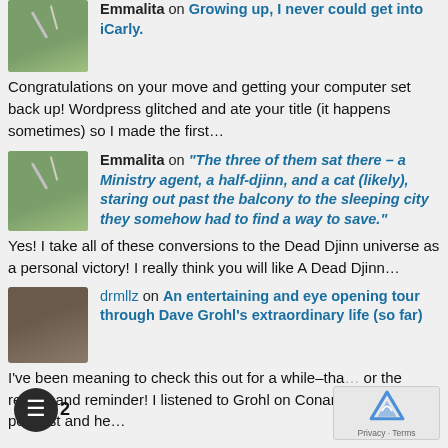Emmalita on Growing up, I never could get into iCarly.
Congratulations on your move and getting your computer set back up! Wordpress glitched and ate your title (it happens sometimes) so I made the first...
Emmalita on "The three of them sat there – a Ministry agent, a half-djinn, and a cat (likely), staring out past the balcony to the sleeping city they somehow had to find a way to save."
Yes! I take all of these conversions to the Dead Djinn universe as a personal victory! I really think you will like A Dead Djinn...
drmllz on An entertaining and eye opening tour through Dave Grohl's extraordinary life (so far)
I've been meaning to check this out for a while–tha... or the review and reminder! I listened to Grohl on Conan O'Brien's podcast and he...